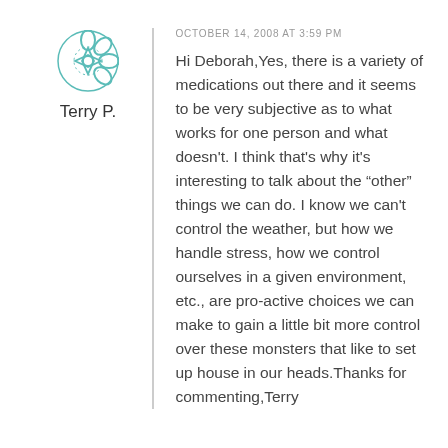[Figure (illustration): Teal/turquoise decorative mandala-style avatar icon]
Terry P.
OCTOBER 14, 2008 AT 3:59 PM
Hi Deborah,Yes, there is a variety of medications out there and it seems to be very subjective as to what works for one person and what doesn't. I think that's why it's interesting to talk about the "other" things we can do. I know we can't control the weather, but how we handle stress, how we control ourselves in a given environment, etc., are pro-active choices we can make to gain a little bit more control over these monsters that like to set up house in our heads.Thanks for commenting,Terry